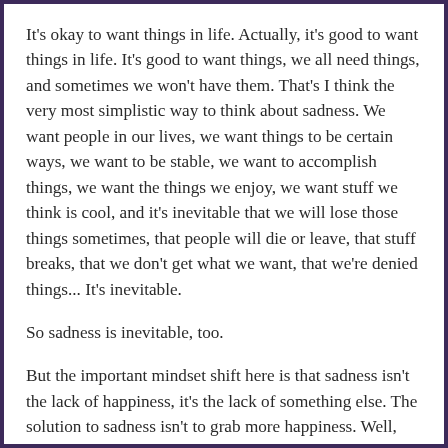It's okay to want things in life. Actually, it's good to want things in life. It's good to want things, we all need things, and sometimes we won't have them. That's I think the very most simplistic way to think about sadness. We want people in our lives, we want things to be certain ways, we want to be stable, we want to accomplish things, we want the things we enjoy, we want stuff we think is cool, and it's inevitable that we will lose those things sometimes, that people will die or leave, that stuff breaks, that we don't get what we want, that we're denied things... It's inevitable.
So sadness is inevitable, too.
But the important mindset shift here is that sadness isn't the lack of happiness, it's the lack of something else. The solution to sadness isn't to grab more happiness. Well, first because solution isn't the right approach or the right word. Being sad isn't a problem to solve.